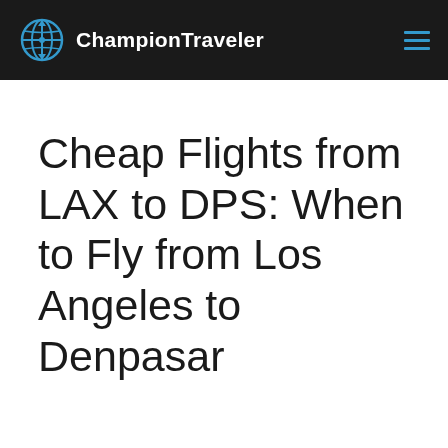ChampionTraveler
Cheap Flights from LAX to DPS: When to Fly from Los Angeles to Denpasar